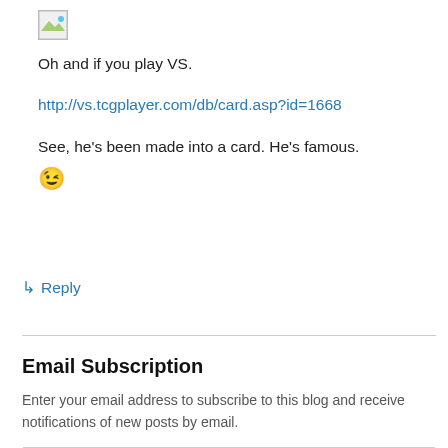[Figure (illustration): Broken/placeholder image icon (small thumbnail with landscape graphic)]
Oh and if you play VS.
http://vs.tcgplayer.com/db/card.asp?id=1668
See, he's been made into a card. He's famous. 😉
↳ Reply
Email Subscription
Enter your email address to subscribe to this blog and receive notifications of new posts by email.
Enter your email address